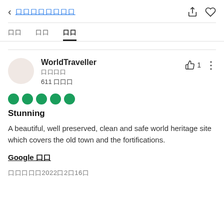< 口口口口口口口口口
口口  口口  口口
WorldTraveller
口口口口
611 口口口
[Figure (other): Five green circles representing a 5-star rating]
Stunning
A beautiful, well preserved, clean and safe world heritage site which covers the old town and the fortifications.
Google 口口
口口口口口2022口2口16口